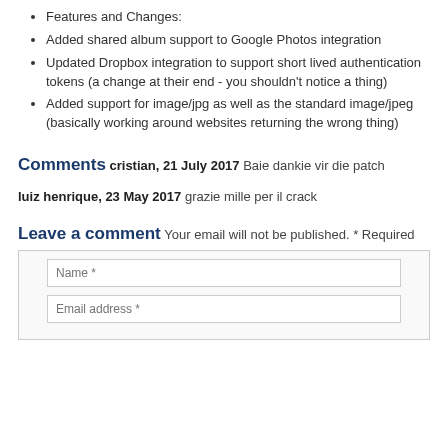Features and Changes:
Added shared album support to Google Photos integration
Updated Dropbox integration to support short lived authentication tokens (a change at their end - you shouldn't notice a thing)
Added support for image/jpg as well as the standard image/jpeg (basically working around websites returning the wrong thing)
Comments
cristian, 21 July 2017
Baie dankie vir die patch
luiz henrique, 23 May 2017
grazie mille per il crack
Leave a comment
Your email will not be published. * Required
Name *
Email address *